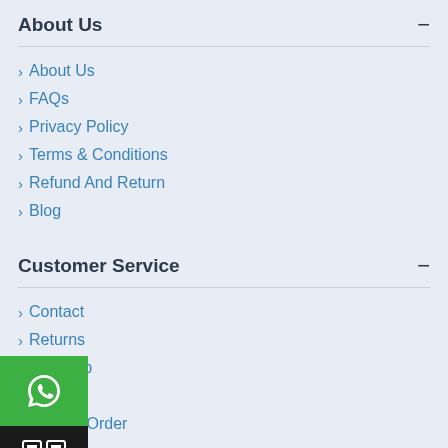About Us
About Us
FAQs
Privacy Policy
Terms & Conditions
Refund And Return
Blog
Customer Service
Contact
Returns
Site Map
Brands
How To Order
My Account
[Figure (logo): WhatsApp chat button (green background with WhatsApp icon)]
[Figure (other): QR code button (dark background with QR code icon)]